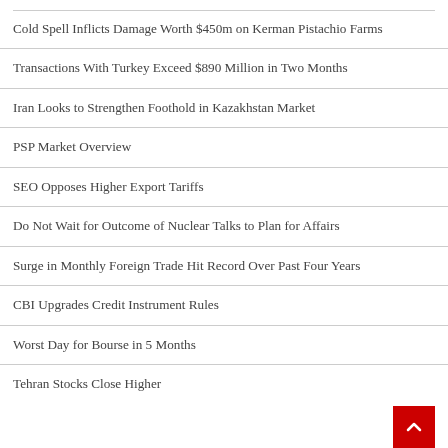Cold Spell Inflicts Damage Worth $450m on Kerman Pistachio Farms
Transactions With Turkey Exceed $890 Million in Two Months
Iran Looks to Strengthen Foothold in Kazakhstan Market
PSP Market Overview
SEO Opposes Higher Export Tariffs
Do Not Wait for Outcome of Nuclear Talks to Plan for Affairs
Surge in Monthly Foreign Trade Hit Record Over Past Four Years
CBI Upgrades Credit Instrument Rules
Worst Day for Bourse in 5 Months
Tehran Stocks Close Higher